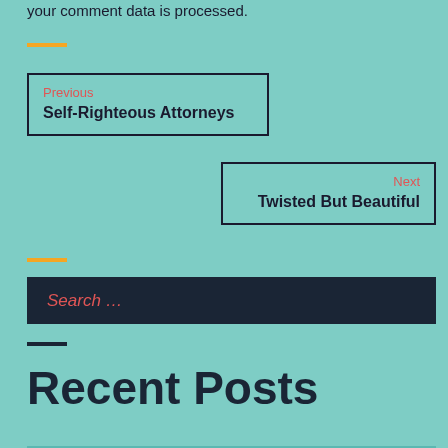your comment data is processed.
Previous
Self-Righteous Attorneys
Next
Twisted But Beautiful
Search …
Recent Posts